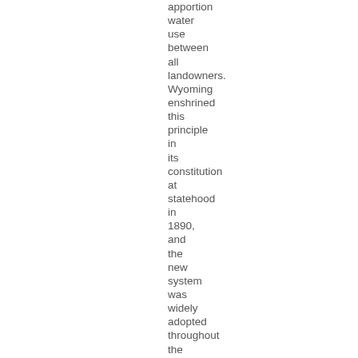apportion water use between all landowners. Wyoming enshrined this principle in its constitution at statehood in 1890, and the new system was widely adopted throughout the West. In Farmer's Independent